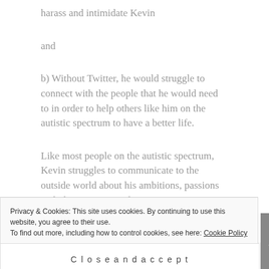harass and intimidate Kevin
and
b) Without Twitter, he would struggle to connect with the people that he would need to in order to help others like him on the autistic spectrum to have a better life.
Like most people on the autistic spectrum, Kevin struggles to communicate to the outside world about his ambitions, passions and ideas. Twitter and
Privacy & Cookies: This site uses cookies. By continuing to use this website, you agree to their use.
To find out more, including how to control cookies, see here: Cookie Policy
Close and accept
podcast lovers.